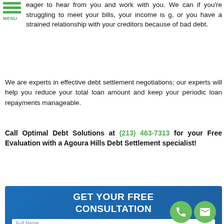eager to hear from you and work with you. We can if you're struggling to meet your bills, your income is g, or you have a strained relationship with your creditors because of bad debt.
We are experts in effective debt settlement negotiations; our experts will help you reduce your total loan amount and keep your periodic loan repayments manageable.
Call Optimal Debt Solutions at (213) 463-7313 for your Free Evaluation with a Agoura Hills Debt Settlement specialist!
[Figure (infographic): Blue consultation form banner with white bold text 'GET YOUR FREE CONSULTATION', form fields for Full Name, Best Phone, Email Address, and How Can We Help You With Your Debt?, with green phone and email icons at bottom right]
How Can We Help You With Your Debt?